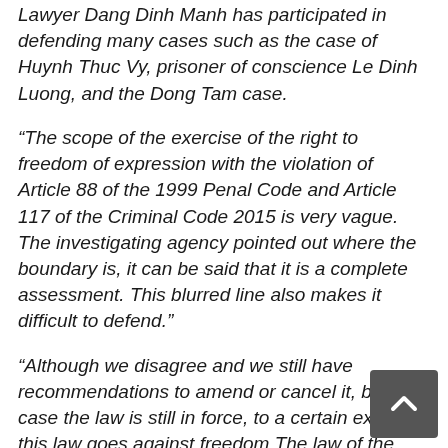Lawyer Dang Dinh Manh has participated in defending many cases such as the case of Huynh Thuc Vy, prisoner of conscience Le Dinh Luong, and the Dong Tam case.
“The scope of the exercise of the right to freedom of expression with the violation of Article 88 of the 1999 Penal Code and Article 117 of the Criminal Code 2015 is very vague. The investigating agency pointed out where the boundary is, it can be said that it is a complete assessment. This blurred line also makes it difficult to defend.”
“Although we disagree and we still have recommendations to amend or cancel it, but in case the law is still in force, to a certain extent, this law goes against freedom The law of the Constitution The argument of the lawyers, in this case, is that the behavior of people like Ms. Trang is not violating the law based on the Constitution. The legal effect of the